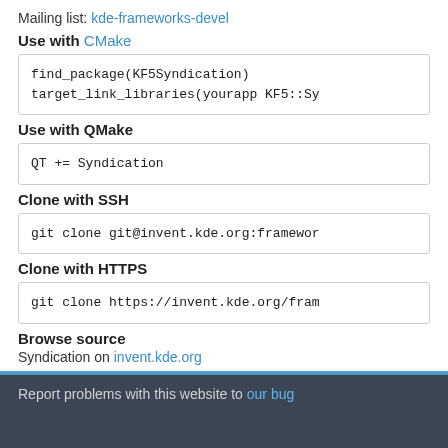Mailing list: kde-frameworks-devel
Use with CMake
find_package(KF5Syndication)
target_link_libraries(yourapp KF5::Sy
Use with QMake
QT += Syndication
Clone with SSH
git clone git@invent.kde.org:framewor
Clone with HTTPS
git clone https://invent.kde.org/fram
Browse source
Syndication on invent.kde.org
Report problems with this website to our bug